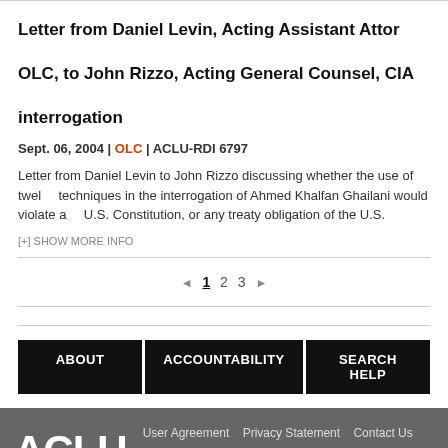Letter from Daniel Levin, Acting Assistant Attorney General, OLC, to John Rizzo, Acting General Counsel, CIA, re: interrogation
Sept. 06, 2004 | OLC | ACLU-RDI 6797
Letter from Daniel Levin to John Rizzo discussing whether the use of twelve techniques in the interrogation of Ahmed Khalfan Ghailani would violate a U.S. Constitution, or any treaty obligation of the U.S.
[+] SHOW MORE INFO
◄ 1 2 3 ►
ABOUT
ACCOUNTABILITY
SEARCH HELP
ACLU. User Agreement | Privacy Statement | Contact Us. © ACLU, 125 Broad Street, 18th Floor, New York NY 10004. This is the website of the American Civil Liberties Union and the A... Learn more about these two components of the ACLU.